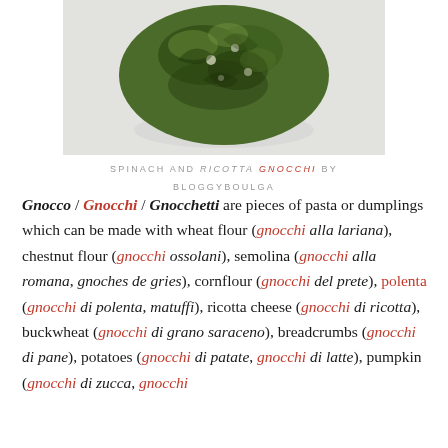[Figure (photo): Close-up photo of a spinach and ricotta gnocchi piece on a light background]
SPINACH AND RICOTTA GNOCCHI BY BLOGGYBOULGA
Gnocco / Gnocchi / Gnocchetti are pieces of pasta or dumplings which can be made with wheat flour (gnocchi alla lariana), chestnut flour (gnocchi ossolani), semolina (gnocchi alla romana, gnoches de gries), cornflour (gnocchi del prete), polenta (gnocchi di polenta, matuffi), ricotta cheese (gnocchi di ricotta), buckwheat (gnocchi di grano saraceno), breadcrumbs (gnocchi di pane), potatoes (gnocchi di patate, gnocchi di latte), pumpkin (gnocchi di zucca, gnocchi ...